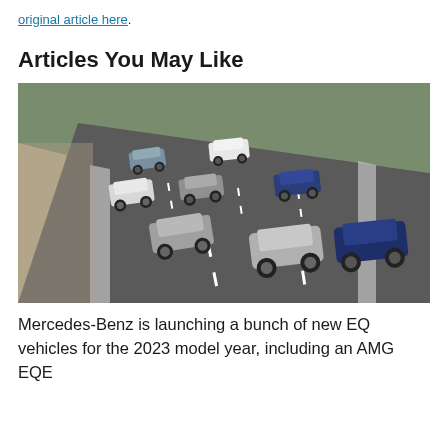original article here.
Articles You May Like
[Figure (photo): Aerial view of multiple Mercedes-Benz EQ vehicles driving on a highway, including SUVs in silver and blue colors, on a road with guardrails and grass on either side.]
Mercedes-Benz is launching a bunch of new EQ vehicles for the 2023 model year, including an AMG EQE